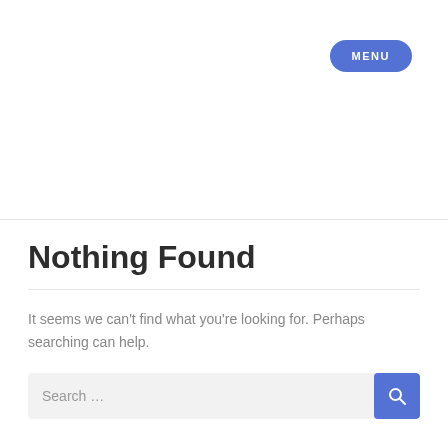MENU
[Figure (photo): Dark horizontal banner strip with purple and dark gradient tones]
Nothing Found
It seems we can't find what you're looking for. Perhaps searching can help.
Search ...